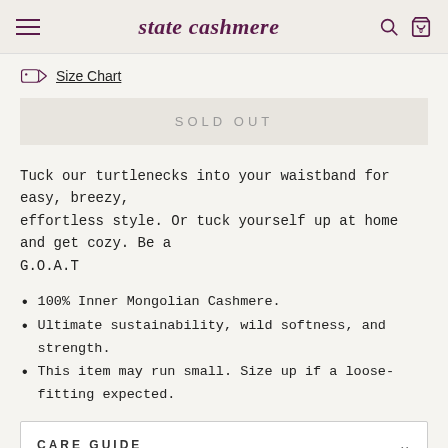state cashmere
Size Chart
SOLD OUT
Tuck our turtlenecks into your waistband for easy, breezy, effortless style. Or tuck yourself up at home and get cozy. Be a G.O.A.T
100% Inner Mongolian Cashmere.
Ultimate sustainability, wild softness, and strength.
This item may run small. Size up if a loose-fitting expected.
CARE GUIDE